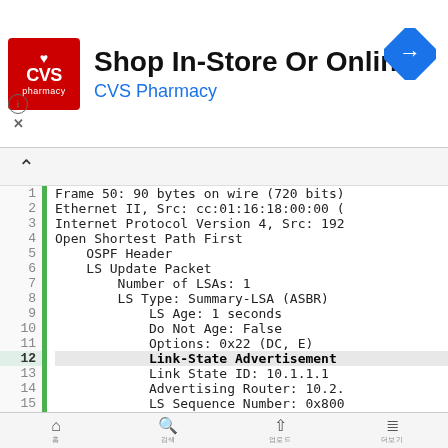[Figure (screenshot): CVS Pharmacy advertisement banner with logo, 'Shop In-Store Or Online' headline, and a navigation arrow icon]
1  Frame 50: 90 bytes on wire (720 bits)
2  Ethernet II, Src: cc:01:16:18:00:00 (
3  Internet Protocol Version 4, Src: 192
4  Open Shortest Path First
5      OSPF Header
6      LS Update Packet
7          Number of LSAs: 1
8          LS Type: Summary-LSA (ASBR)
9              LS Age: 1 seconds
10             Do Not Age: False
11             Options: 0x22 (DC, E)
12             Link-State Advertisement
13             Link State ID: 10.1.1.1
14             Advertising Router: 10.2.
15             LS Sequence Number: 0x800
16             LS Checksum: 0xb75d
Home  Search  Up  Menu